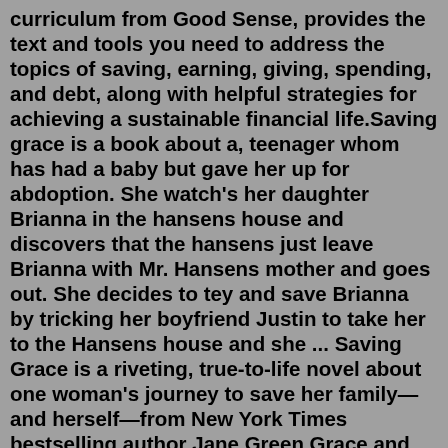curriculum from Good Sense, provides the text and tools you need to address the topics of saving, earning, giving, spending, and debt, along with helpful strategies for achieving a sustainable financial life.Saving grace is a book about a, teenager whom has had a baby but gave her up for abdoption. She watch's her daughter Brianna in the hansens house and discovers that the hansens just leave Brianna with Mr. Hansens mother and goes out. She decides to tey and save Brianna by tricking her boyfriend Justin to take her to the Hansens house and she ... Saving Grace is a riveting, true-to-life novel about one woman's journey to save her family—and herself—from New York Times bestselling author Jane Green Grace and Ted Chapman are widely regarded as the perfect couple. Ted is a successful novelist and Grace, his wife of twenty years, is beautiful, carefree, and a wonderful homemaker.Saving Grace. When Lady Johanna learned that she was a widow, she vowed she would never marry again. Only sixteen, already she